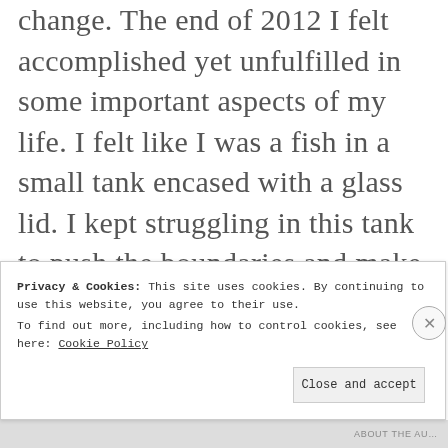change.  The end of 2012 I felt accomplished yet unfulfilled in some important aspects of my life.  I felt like I was a fish in a small tank encased with a glass lid.  I kept struggling in this tank to push the boundaries and make my life what I wanted but I became tired and was running out of energy and life.
It was only with focus that I saw the
Privacy & Cookies: This site uses cookies. By continuing to use this website, you agree to their use.
To find out more, including how to control cookies, see here: Cookie Policy
Close and accept
ABOUT THE AU...